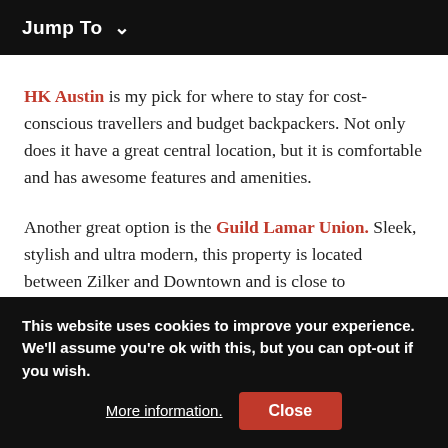Jump To ∨
HK Austin is my pick for where to stay for cost-conscious travellers and budget backpackers. Not only does it have a great central location, but it is comfortable and has awesome features and amenities.
Another great option is the Guild Lamar Union. Sleek, stylish and ultra modern, this property is located between Zilker and Downtown and is close to restaurants, bars and shops.
This website uses cookies to improve your experience. We'll assume you're ok with this, but you can opt-out if you wish. More information. Close